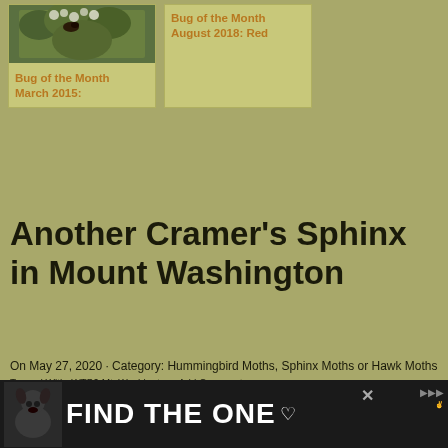[Figure (photo): Small thumbnail photo of a bug/insect on white flowers with green foliage background]
Bug of the Month March 2015:
Bug of the Month August 2018: Red
Another Cramer's Sphinx in Mount Washington
On May 27, 2020 · Category: Hummingbird Moths, Sphinx Moths or Hawk Moths Tagged With: WTB? Mt. Washington · Add Comment
Gentle Readers,
Since the onset of COVID-19, Daniel has been overwhelmed with computer based activities, including teaching college students online and running ZOOM
[Figure (photo): WHAT'S NEXT callout with circular thumbnail photo of a reddish object, labeled Gossamer Winged...]
[Figure (photo): Advertisement bar at bottom: FIND THE ONE with dog image and heart symbol]